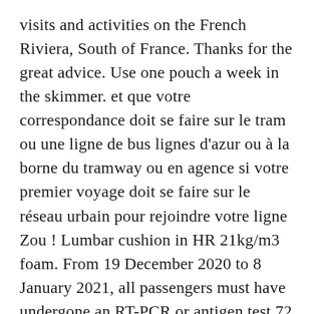visits and activities on the French Riviera, South of France. Thanks for the great advice. Use one pouch a week in the skimmer. et que votre correspondance doit se faire sur le tram ou une ligne de bus lignes d'azur ou à la borne du tramway ou en agence si votre premier voyage doit se faire sur le réseau urbain pour rejoindre votre ligne Zou ! Lumbar cushion in HR 21kg/m3 foam. From 19 December 2020 to 8 January 2021, all passengers must have undergone an RT-PCR or antigen test 72 hours before departure and be able to provide the result.. The AZUR adventure, 10 years in the making Ten years ago, we launched the colossal project of